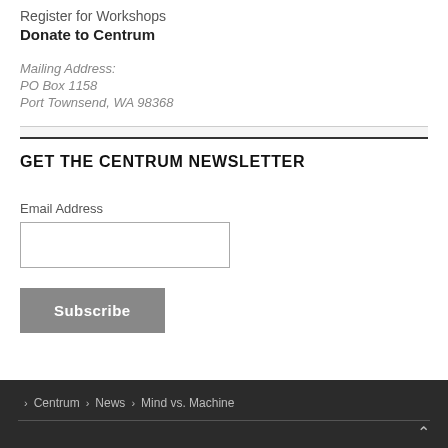Register for Workshops
Donate to Centrum
Mailing Address:
PO Box 1158
Port Townsend, WA 98368
GET THE CENTRUM NEWSLETTER
Email Address
Subscribe
> Centrum > News > Mind vs. Machine